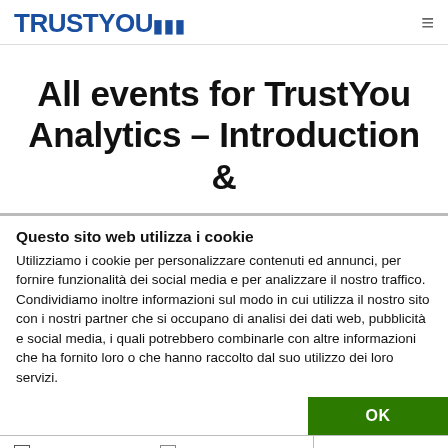TRUSTYOU
All events for TrustYou Analytics – Introduction &
Questo sito web utilizza i cookie
Utilizziamo i cookie per personalizzare contenuti ed annunci, per fornire funzionalità dei social media e per analizzare il nostro traffico. Condividiamo inoltre informazioni sul modo in cui utilizza il nostro sito con i nostri partner che si occupano di analisi dei dati web, pubblicità e social media, i quali potrebbero combinarle con altre informazioni che ha fornito loro o che hanno raccolto dal suo utilizzo dei loro servizi.
OK
Necessario  Preferenze  Statistiche  Marketing  Mostra dettagli